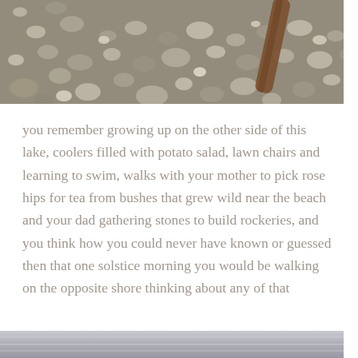[Figure (photo): Close-up photograph of a rocky pebble beach with a wooden stick or branch partially visible at the top right. The pebbles are various sizes, grey and beige tones, on sandy ground.]
you remember growing up on the other side of this lake, coolers filled with potato salad, lawn chairs and learning to swim, walks with your mother to pick rose hips for tea from bushes that grew wild near the beach and your dad gathering stones to build rockeries, and you think how you could never have known or guessed then that one solstice morning you would be walking on the opposite shore thinking about any of that
[Figure (photo): Partial view of a second photograph at the bottom of the page, showing a grey and silver reflective surface, likely water or a lake.]